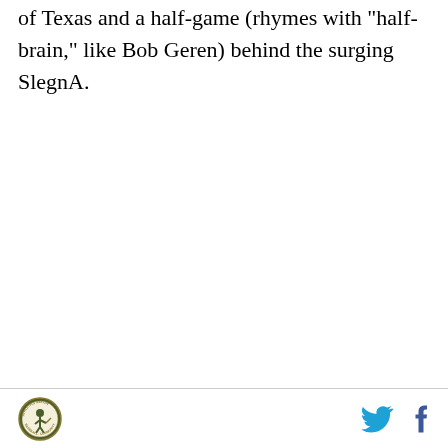fell to third place, 2 games behind of Texas and a half-game (rhymes with "half-brain," like Bob Geren) behind the surging SlegnA.
[Figure (logo): Circular logo with a baseball player figure in the center, surrounded by text around the border, green and gold coloring]